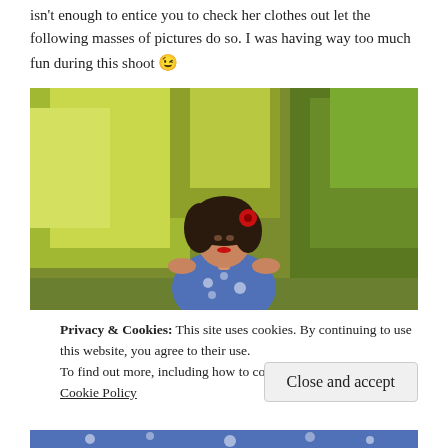isn't enough to entice you to check her clothes out let the following masses of pictures do so. I was having way too much fun during this shoot 😉
[Figure (photo): A young woman with dark curly hair, a red flower hair accessory, and red lipstick wearing a blue and white floral halter dress, standing outdoors with green and yellow-leafed trees in the background.]
Privacy & Cookies: This site uses cookies. By continuing to use this website, you agree to their use.
To find out more, including how to control cookies, see here: Cookie Policy
Close and accept
[Figure (photo): Bottom sliver of a second photo showing a blue and white floral dress.]